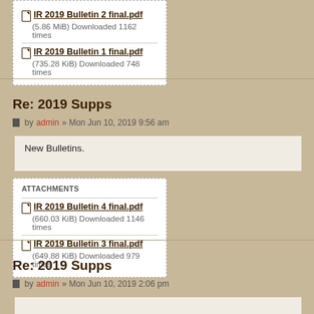IR 2019 Bulletin 2 final.pdf
(5.86 MiB) Downloaded 1162 times
IR 2019 Bulletin 1 final.pdf
(735.28 KiB) Downloaded 748 times
Re: 2019 Supps
by admin » Mon Jun 10, 2019 9:56 am
New Bulletins.
ATTACHMENTS
IR 2019 Bulletin 4 final.pdf
(660.03 KiB) Downloaded 1146 times
IR 2019 Bulletin 3 final.pdf
(649.88 KiB) Downloaded 979 times
Re: 2019 Supps
by admin » Mon Jun 10, 2019 2:06 pm